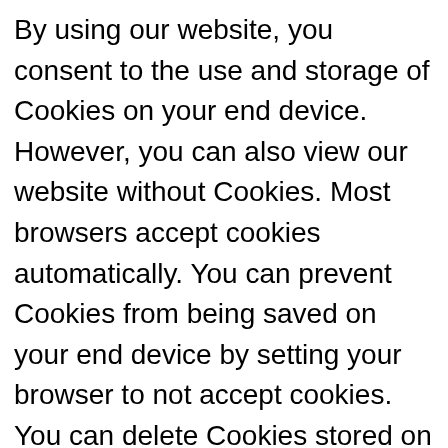By using our website, you consent to the use and storage of Cookies on your end device. However, you can also view our website without Cookies. Most browsers accept cookies automatically. You can prevent Cookies from being saved on your end device by setting your browser to not accept cookies. You can delete Cookies stored on your end device at any time. The exact instructions for how to do this can be found in the manual for your browser or end device. You will find more information on how to reject or control Cookies on